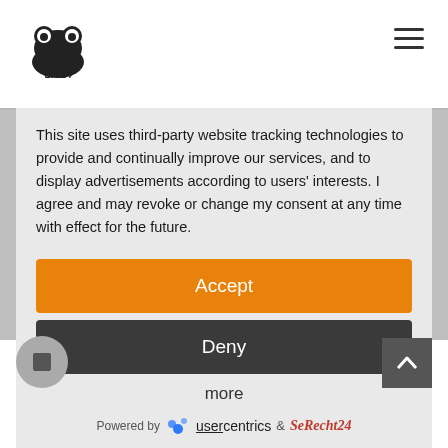[Figure (logo): LIVL4 logo with cartoon frog icon]
This site uses third-party website tracking technologies to provide and continually improve our services, and to display advertisements according to users' interests. I agree and may revoke or change my consent at any time with effect for the future.
Accept
Deny
more
Powered by  usercentrics  &  eRecht24
with us until you ask us to eradicate the data, rev... yo...consent to the archiving of data or if the purpose fo... which the information is being archived no longer exists (e.g.